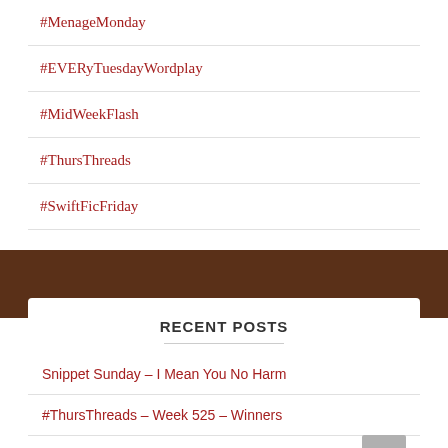#MenageMonday
#EVERyTuesdayWordplay
#MidWeekFlash
#ThursThreads
#SwiftFicFriday
RECENT POSTS
Snippet Sunday – I Mean You No Harm
#ThursThreads – Week 525 – Winners
#ThursThreads – Tying Tales Together – Week 525